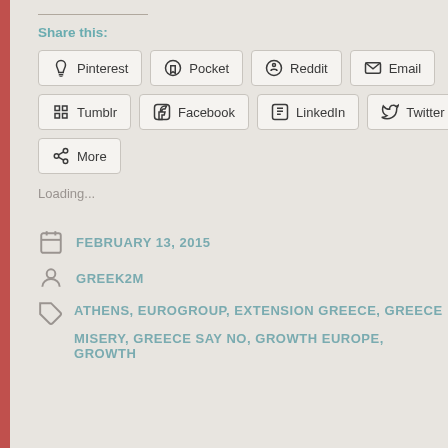Share this:
Pinterest
Pocket
Reddit
Email
Tumblr
Facebook
LinkedIn
Twitter
More
Loading...
FEBRUARY 13, 2015
GREEK2M
ATHENS, EUROGROUP, EXTENSION GREECE, GREECE MISERY, GREECE SAY NO, GROWTH EUROPE, GROWTH